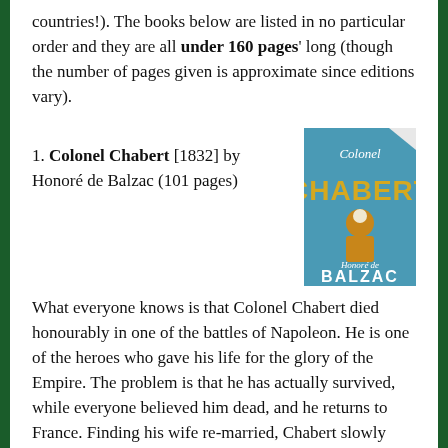countries!). The books below are listed in no particular order and they are all under 160 pages' long (though the number of pages given is approximate since editions vary).
1. Colonel Chabert [1832] by Honoré de Balzac (101 pages)
[Figure (photo): Book cover of Colonel Chabert by Honoré de Balzac — blue background with gold lettering and an illustration of a figure in a golden coat]
What everyone knows is that Colonel Chabert died honourably in one of the battles of Napoleon. He is one of the heroes who gave his life for the glory of the Empire. The problem is that he has actually survived, while everyone believed him dead, and he returns to France. Finding his wife re-married, Chabert slowly senses that everyone thinks that he is really better off dead. This is a penetrating novel by Balzac about society's hypocrisy and the fight for justice.